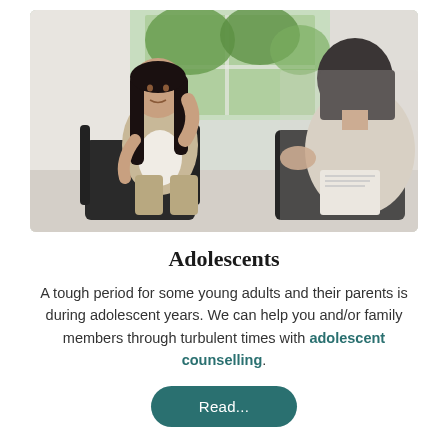[Figure (photo): A young woman with long dark hair sitting in a black chair listening, facing a counsellor or therapist whose back is partially visible in the foreground. They appear to be in a bright office or consultation room setting.]
Adolescents
A tough period for some young adults and their parents is during adolescent years. We can help you and/or family members through turbulent times with adolescent counselling.